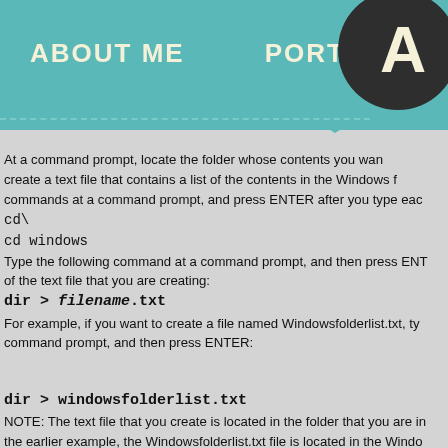ABOUT ME    PORTFOLIO
At a command prompt, locate the folder whose contents you want to create a text file that contains a list of the contents in the Windows folder. type the following commands at a command prompt, and press ENTER after you type each command:
cd\
cd windows
Type the following command at a command prompt, and then press ENTER, where filename is the name of the text file that you are creating:
dir > filename.txt
For example, if you want to create a file named Windowsfolderlist.txt, type the following at a command prompt, and then press ENTER:

dir > windowsfolderlist.txt
NOTE: The text file that you create is located in the folder that you are in when you type the command. In the earlier example, the Windowsfolderlist.txt file is located in the Windows folder.

Use a text editor, such as Notepad, to view or print this file.
Try other commands like: